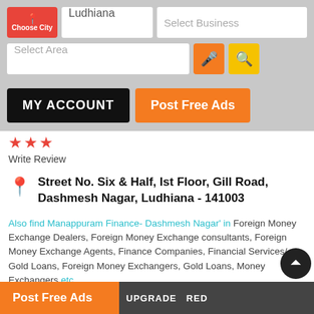Choose City | Ludhiana | Select Business | Select Area
MY ACCOUNT   Post Free Ads
★ ★ ★
Write Review
Street No. Six & Half, Ist Floor, Gill Road, Dashmesh Nagar, Ludhiana - 141003
Also find Manappuram Finance- Dashmesh Nagar' in Foreign Money Exchange Dealers, Foreign Money Exchange consultants, Foreign Money Exchange Agents, Finance Companies, Financial Services/ Gold Loans, Foreign Money Exchangers, Gold Loans, Money Exchangers etc.
Post Free Ads   UPGRADE   RED